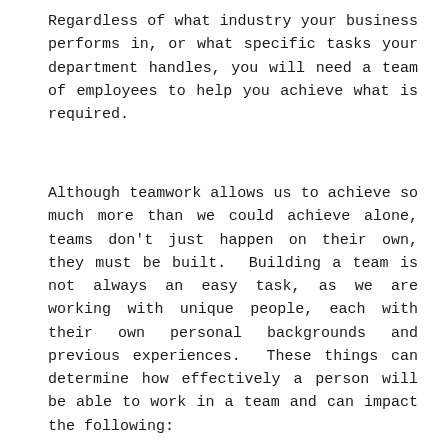Regardless of what industry your business performs in, or what specific tasks your department handles, you will need a team of employees to help you achieve what is required.
Although teamwork allows us to achieve so much more than we could achieve alone, teams don’t just happen on their own, they must be built.  Building a team is not always an easy task, as we are working with unique people, each with their own personal backgrounds and previous experiences.  These things can determine how effectively a person will be able to work in a team and can impact the following: